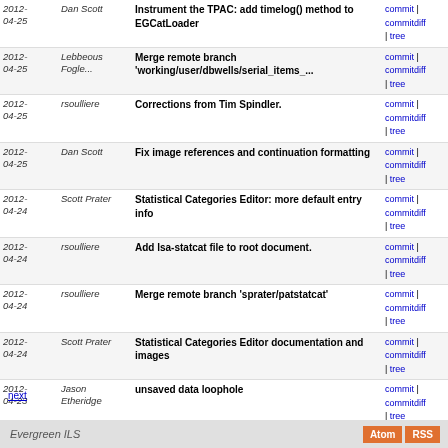| Date | Author | Message | Links |
| --- | --- | --- | --- |
| 2012-04-25 | Dan Scott | Instrument the TPAC: add timelog() method to EGCatLoader | commit | commitdiff | tree |
| 2012-04-25 | Lebbeous Fogle... | Merge remote branch 'working/user/dbwells/serial_items_... | commit | commitdiff | tree |
| 2012-04-25 | rsoulliere | Corrections from Tim Spindler. | commit | commitdiff | tree |
| 2012-04-25 | Dan Scott | Fix image references and continuation formatting | commit | commitdiff | tree |
| 2012-04-24 | Scott Prater | Statistical Categories Editor: more default entry info | commit | commitdiff | tree |
| 2012-04-24 | rsoulliere | Add lsa-statcat file to root document. | commit | commitdiff | tree |
| 2012-04-24 | rsoulliere | Merge remote branch 'sprater/patstatcat' | commit | commitdiff | tree |
| 2012-04-24 | Scott Prater | Statistical Categories Editor documentation and images | commit | commitdiff | tree |
| 2012-04-23 | Jason Etheridge | unsaved data loophole | commit | commitdiff | tree |
| 2012-04-23 | rsoulliere | Update installation for beta2. | commit | commitdiff | tree |
| 2012-04-23 | Dan Scott | Bootstrap via "autoreconf -f -i" instead of "autogen.sh" [user/dyrcona/autoreconf] | commit | commitdiff | tree |
next
Evergreen ILS  Atom  RSS